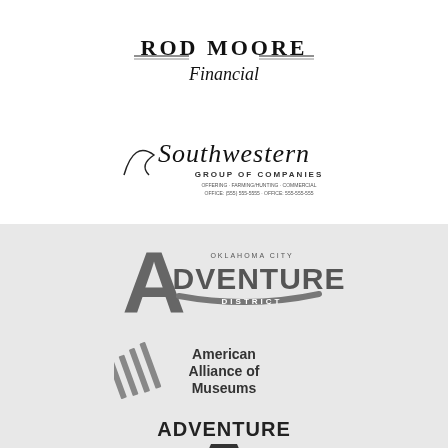[Figure (logo): Rod Moore Financial logo — serif all-caps ROD MOORE with decorative lines, italic script Financial below]
[Figure (logo): Southwestern Group of Companies logo — script Southwestern text with GROUP OF COMPANIES in small caps below, contact details in tiny text]
[Figure (logo): Oklahoma City Adventure District logo — large stylized A with ADVENTURE text and DISTRICT below in banner style]
[Figure (logo): American Alliance of Museums logo — diagonal stripe pattern icon on left with text American Alliance of Museums on right]
[Figure (logo): Adventure Road logo with Route 35 shield — ADVENTURE ROAD in bold with highway shield containing 35]